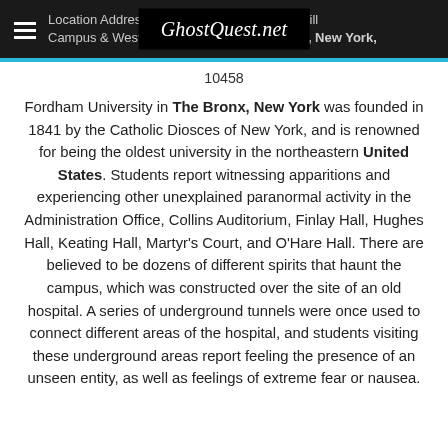Location Address: Lincoln Center Campus, Rose Hill Campus & Westchester Campus; The Bronx, New York, 10458
[Figure (logo): GhostQuest.net logo in white italic text on black background]
Fordham University in The Bronx, New York was founded in 1841 by the Catholic Diosces of New York, and is renowned for being the oldest university in the northeastern United States. Students report witnessing apparitions and experiencing other unexplained paranormal activity in the Administration Office, Collins Auditorium, Finlay Hall, Hughes Hall, Keating Hall, Martyr's Court, and O'Hare Hall. There are believed to be dozens of different spirits that haunt the campus, which was constructed over the site of an old hospital. A series of underground tunnels were once used to connect different areas of the hospital, and students visiting these underground areas report feeling the presence of an unseen entity, as well as feelings of extreme fear or nausea.